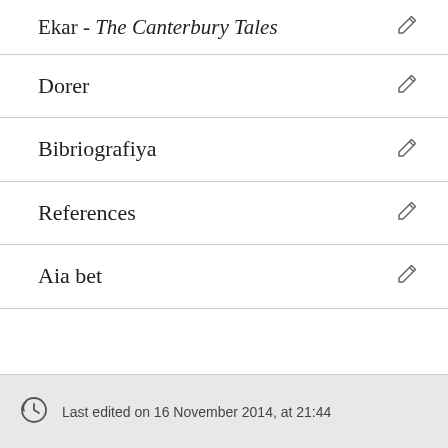Ekar - The Canterbury Tales
Dorer
Bibriografiya
References
Aia bet
Last edited on 16 November 2014, at 21:44